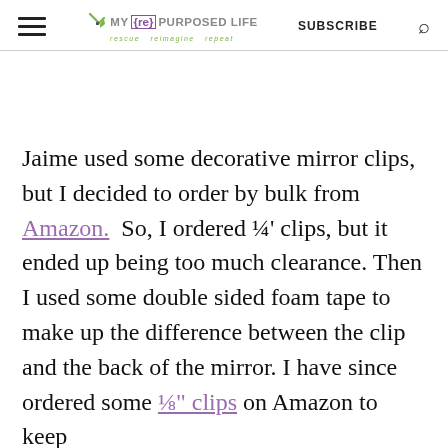MY {re} PURPOSED LIFE rescue reimagine repeat | SUBSCRIBE
Jaime used some decorative mirror clips, but I decided to order by bulk from Amazon.  So, I ordered ¼' clips, but it ended up being too much clearance. Then I used some double sided foam tape to make up the difference between the clip and the back of the mirror. I have since ordered some ⅛" clips on Amazon to keep